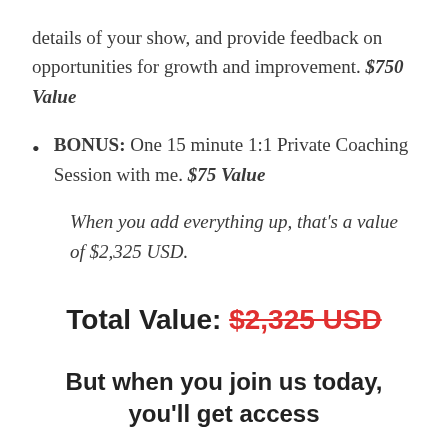details of your show, and provide feedback on opportunities for growth and improvement. $750 Value
BONUS: One 15 minute 1:1 Private Coaching Session with me. $75 Value
When you add everything up, that's a value of $2,325 USD.
Total Value: $2,325 USD
But when you join us today, you'll get access